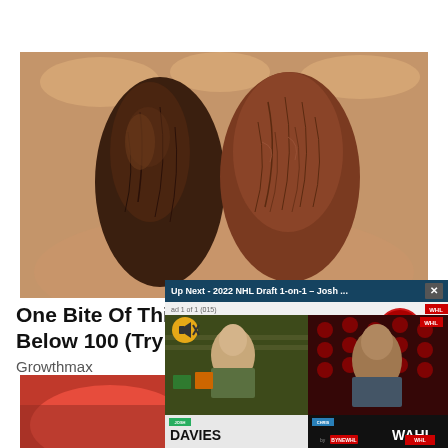[Figure (photo): Close-up photo of two dark brown dried dates (fruit) held in a person's palm against a light beige/skin background.]
One Bite Of Th...
Below 100 (Try
Growthmax
[Figure (photo): Partial view of a second food image at bottom left, showing red-colored food item.]
[Figure (screenshot): Video player popup overlay showing '2022 NHL Draft 1-on-1 - Josh...' with two panelists: Josh Davies (left, in front of shelves) and Chris Wahl (right, in front of NHL/WHL branded background). Shows ad indicator 'ad 1 of 1 (015)' and WHL Draft logo. Both names shown in lower thirds.]